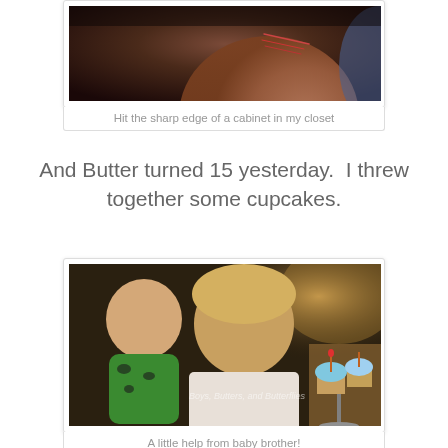[Figure (photo): Close-up photo of a child's head/neck showing a scratch or cut from hitting a cabinet edge]
Hit the sharp edge of a cabinet in my closet
And Butter turned 15 yesterday.  I threw together some cupcakes.
[Figure (photo): Two boys — a toddler in green outfit and an older boy — looking at birthday cupcakes with blue frosting and candles]
A little help from baby brother!